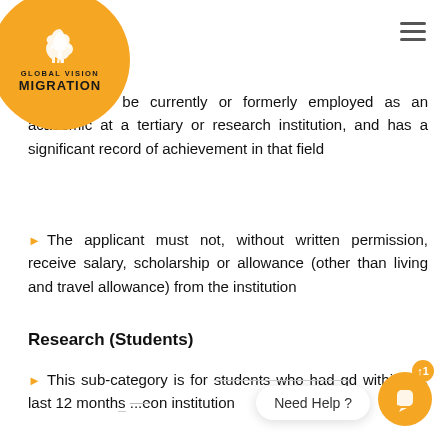[Figure (logo): Global Vision Migration logo — orange circle with kangaroo silhouette and text 'GLOBAL VISION MIGRATION']
ant must be currently or formerly employed as an academic at a tertiary or research institution, and has a significant record of achievement in that field
The applicant must not, without written permission, receive salary, scholarship or allowance (other than living and travel allowance) from the institution
Research (Students)
This sub-category is for students who had g...d within the last 12 months...e...on institution